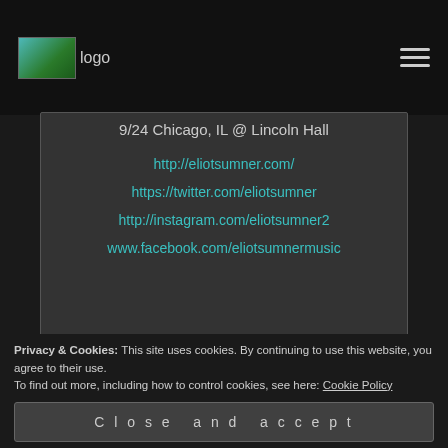[Figure (logo): Website logo image with 'logo' text label in top left header]
9/24 Chicago, IL @ Lincoln Hall
http://eliotsumner.com/
https://twitter.com/eliotsumner
http://instagram.com/eliotsumner2
www.facebook.com/eliotsumnermusic
Privacy & Cookies: This site uses cookies. By continuing to use this website, you agree to their use.
To find out more, including how to control cookies, see here: Cookie Policy
Close and accept